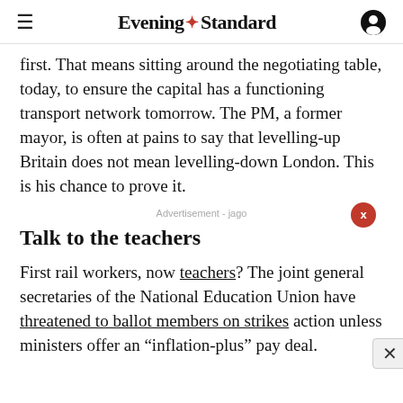Evening Standard
first. That means sitting around the negotiating table, today, to ensure the capital has a functioning transport network tomorrow. The PM, a former mayor, is often at pains to say that levelling-up Britain does not mean levelling-down London. This is his chance to prove it.
Talk to the teachers
First rail workers, now teachers? The joint general secretaries of the National Education Union have threatened to ballot members on strikes action unless ministers offer an “inflation-plus” pay deal.